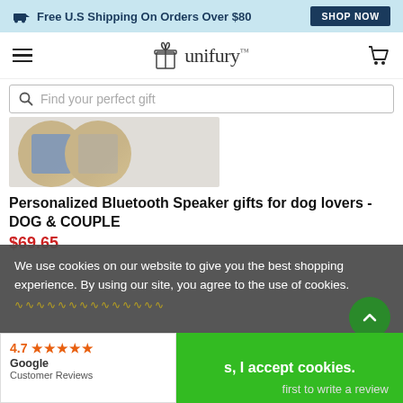Free U.S Shipping On Orders Over $80  SHOP NOW
[Figure (logo): Unifury logo with gift box icon]
Find your perfect gift
[Figure (photo): Personalized Bluetooth Speaker product photo showing two circular images]
Personalized Bluetooth Speaker gifts for dog lovers - DOG & COUPLE
$69.65
We use cookies on our website to give you the best shopping experience. By using our site, you agree to the use of cookies.
s, I accept cookies.
4.7 ★★★★★ Google Customer Reviews
first to write a review